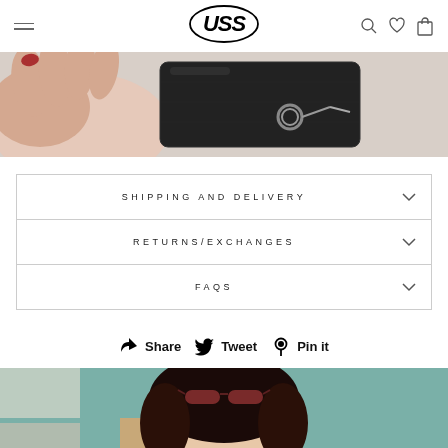[Figure (screenshot): Website header with hamburger menu, USS logo, search icon, heart icon, and shopping bag icon]
[Figure (photo): Close-up of a hand holding a black leather bag with metal ring hardware]
SHIPPING AND DELIVERY
RETURNS/EXCHANGES
FAQS
Share  Tweet  Pin it
[Figure (photo): Portrait of a woman with dark hair and sunglasses on her head, against a teal/green background]